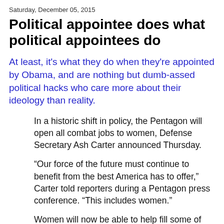Saturday, December 05, 2015
Political appointee does what political appointees do
At least, it's what they do when they're appointed by Obama, and are nothing but dumb-assed political hacks who care more about their ideology than reality.
In a historic shift in policy, the Pentagon will open all combat jobs to women, Defense Secretary Ash Carter announced Thursday.
“Our force of the future must continue to benefit from the best America has to offer,” Carter told reporters during a Pentagon press conference. “This includes women.”
Women will now be able to help fill some of the 220,000 roles that are currently only open to their male counterparts — positions that include some special operations units and infantry — among